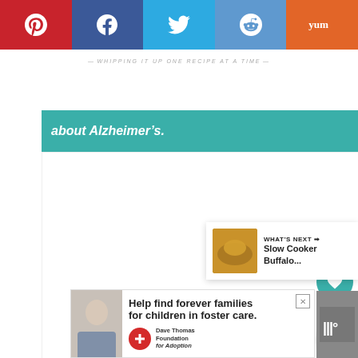[Figure (screenshot): Social media share bar with Pinterest (red), Facebook (dark blue), Twitter (blue), Reddit (light blue), Yummly (orange) buttons]
WHIPPING IT UP ONE RECIPE AT A TIME
about Alzheimer's.
[Figure (screenshot): Alzheimer's Association logo]
[Figure (screenshot): White content area]
9.6K
WHAT'S NEXT → Slow Cooker Buffalo...
[Figure (screenshot): Advertisement: Help find forever families for children in foster care. Dave Thomas Foundation for Adoption.]